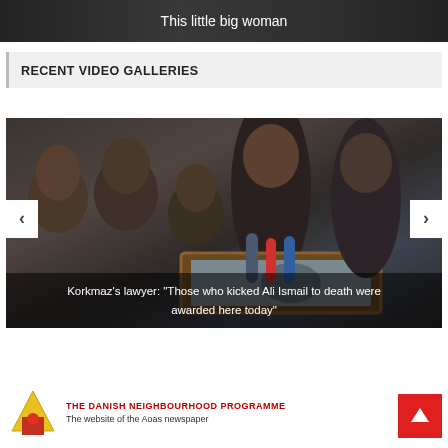[Figure (photo): Dark banner image with text overlay 'This little big woman']
RECENT VIDEO GALLERIES
[Figure (photo): News photo showing grieving woman holding framed portrait with crowd behind her, with navigation arrows and caption overlay]
Korkmaz's lawyer: "Those who kicked Ali Ismail to death were awarded here today"
[Figure (logo): The Danish Neighbourhood Programme logo with red and yellow icon]
The website of the Aoas newspaper